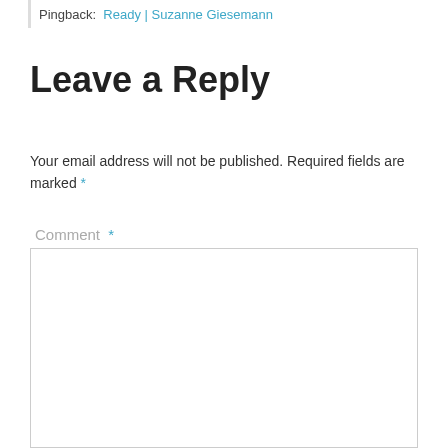Pingback: Ready | Suzanne Giesemann
Leave a Reply
Your email address will not be published. Required fields are marked *
Comment *